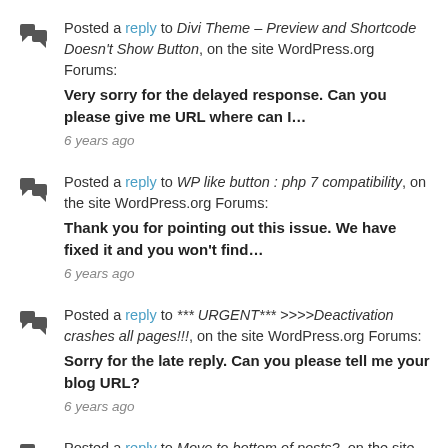Posted a reply to Divi Theme – Preview and Shortcode Doesn't Show Button, on the site WordPress.org Forums: Very sorry for the delayed response. Can you please give me URL where can I… 6 years ago
Posted a reply to WP like button : php 7 compatibility, on the site WordPress.org Forums: Thank you for pointing out this issue. We have fixed it and you won't find… 6 years ago
Posted a reply to *** URGENT*** >>>>Deactivation crashes all pages!!!, on the site WordPress.org Forums: Sorry for the late reply. Can you please tell me your blog URL? 6 years ago
Posted a reply to Move to bottom of posts?, on the site WordPress.org Forums: @torken, wp like button already place above the comment and below the post. Could you… 6 years ago